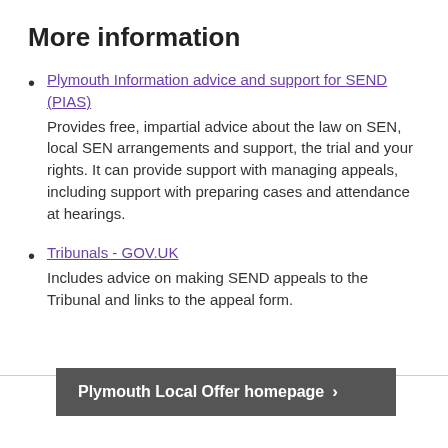More information
Plymouth Information advice and support for SEND (PIAS) — Provides free, impartial advice about the law on SEN, local SEN arrangements and support, the trial and your rights.  It can provide support with managing appeals, including support with preparing cases and attendance at hearings.
Tribunals - GOV.UK — Includes advice on making SEND appeals to the Tribunal and links to the appeal form.
Plymouth Local Offer homepage >